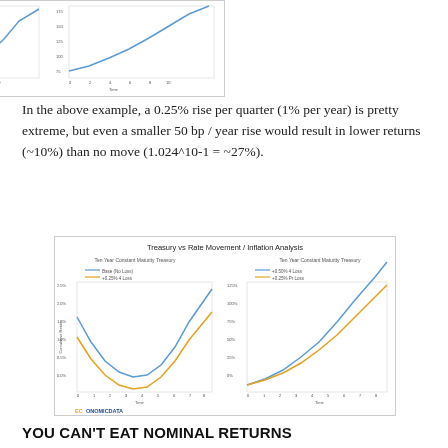[Figure (continuous-plot): Two line charts showing Ten Year Constant Maturity Treasury analysis - partial/cropped view at top of page. Left chart shows a U-shaped curve (blue), right chart shows an upward sloping line.]
In the above example, a 0.25% rise per quarter (1% per year) is pretty extreme, but even a smaller 50 bp / year rise would result in lower returns (~10%) than no move (1.024^10-1 = ~27%).
[Figure (continuous-plot): Treasury vs Rate Movement / Inflation Analysis. Two line charts side by side. Left: Ten Year Constant Maturity Treasury with two lines (blue and orange/gold) showing U-shaped curves. Right: Ten Year Constant Maturity Treasury with two lines showing upward sloping curves.]
YOU CAN'T EAT NOMINAL RETURNS
Another problem for investors is that a rise in nominal rates